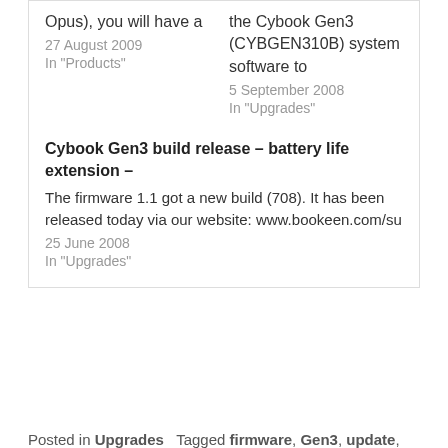Opus), you will have a
27 August 2009
In "Products"
the Cybook Gen3 (CYBGEN310B) system software to
5 September 2008
In "Upgrades"
Cybook Gen3 build release – battery life extension –
The firmware 1.1 got a new build (708). It has been released today via our website: www.bookeen.com/su
25 June 2008
In "Upgrades"
Posted in Upgrades   Tagged firmware, Gen3, update,